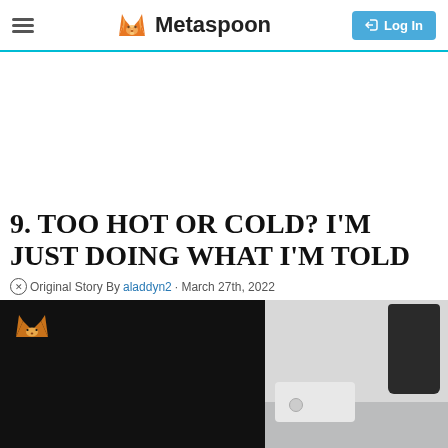Metaspoon — Log In
9. TOO HOT OR COLD? I'M JUST DOING WHAT I'M TOLD
Original Story By aladdyn2 · March 27th, 2022
[Figure (photo): Left: Dark video player with Metaspoon logo icon. Right: Photo of a dark cylindrical object (possibly a cup or device) on a white surface.]